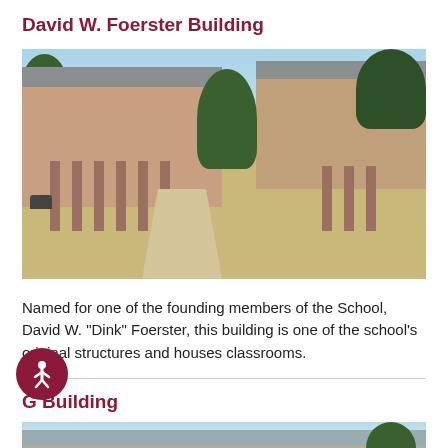David W. Foerster Building
[Figure (photo): Exterior photo of David W. Foerster Building, a low brick building with columns and a grey roof, surrounded by trees and an open courtyard]
Named for one of the founding members of the School, David W. "Dink" Foerster, this building is one of the school's original structures and houses classrooms.
G Building
[Figure (photo): Partial exterior photo of G Building showing grey roof and trees]